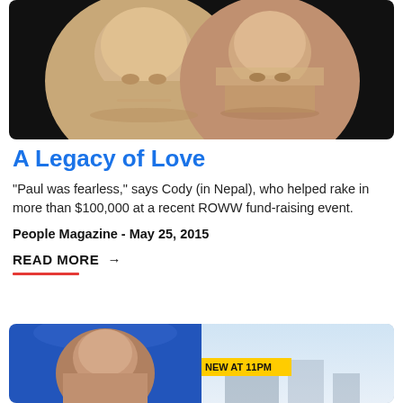[Figure (photo): Photo of two smiling people (a woman and a man) against a dark background, cropped at the top]
A Legacy of Love
“Paul was fearless,” says Cody (in Nepal), who helped rake in more than $100,000 at a recent ROWW fund-raising event.
People Magazine - May 25, 2015
READ MORE →
[Figure (photo): Split image showing a man on the left against a blue background and a news segment on the right with a 'NEW AT 11PM' banner]